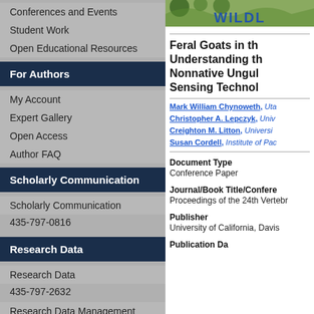Conferences and Events
Student Work
Open Educational Resources
For Authors
My Account
Expert Gallery
Open Access
Author FAQ
Scholarly Communication
Scholarly Communication
435-797-0816
Research Data
Research Data
435-797-2632
Research Data Management Services @ USU
[Figure (photo): Partial photo with WILDL text header for wildlife journal]
Feral Goats in th... Understanding th... Nonnative Ungul... Sensing Technol...
Mark William Chynoweth, Uta...
Christopher A. Lepczyk, Univ...
Creighton M. Litton, Universi...
Susan Cordell, Institute of Pac...
Document Type
Conference Paper
Journal/Book Title/Confere...
Proceedings of the 24th Vertebr...
Publisher
University of California, Davis